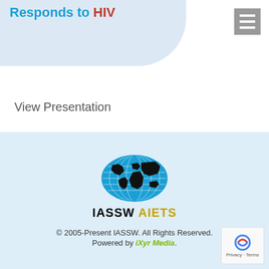[Figure (screenshot): Partial banner with text 'Responds to HIV' in blue and red bold text on a light blue curved background area]
View Presentation
[Figure (logo): IASSW AIETS globe logo — blue oval with world map in black, with grid lines, labeled IASSW in black and AIETS in gold/yellow below]
© 2005-Present IASSW. All Rights Reserved. Powered by iXyr Media.